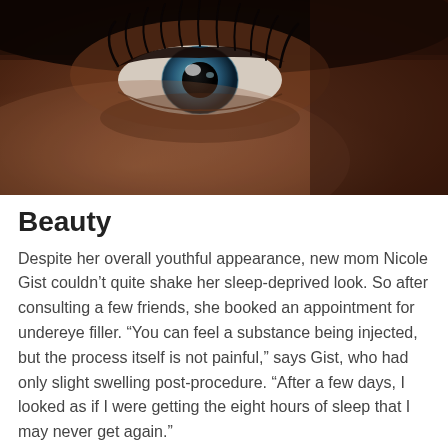[Figure (photo): Close-up photograph of a person's eye and skin. The eye has a blue iris with dark lashes, set against warm brown skin tones. The image is cropped tightly showing just the upper portion of the face around one eye.]
Beauty
Despite her overall youthful appearance, new mom Nicole Gist couldn't quite shake her sleep-deprived look. So after consulting a few friends, she booked an appointment for undereye filler. “You can feel a substance being injected, but the process itself is not painful,” says Gist, who had only slight swelling post-procedure. “After a few days, I looked as if I were getting the eight hours of sleep that I may never get again.”